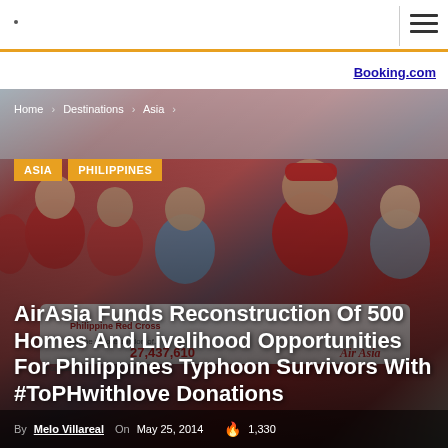Booking.com
[Figure (photo): Group photo of AirAsia staff and officials in red uniforms holding a banner, indoor event setting]
Home › Destinations › Asia ›
ASIA   PHILIPPINES
AirAsia Funds Reconstruction Of 500 Homes And Livelihood Opportunities For Philippines Typhoon Survivors With #ToPHwithlove Donations
By Melo Villareal   On May 25, 2014   🔥 1,330